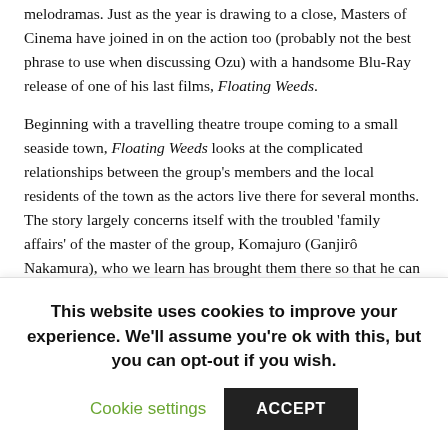melodramas. Just as the year is drawing to a close, Masters of Cinema have joined in on the action too (probably not the best phrase to use when discussing Ozu) with a handsome Blu-Ray release of one of his last films, Floating Weeds.
Beginning with a travelling theatre troupe coming to a small seaside town, Floating Weeds looks at the complicated relationships between the group's members and the local residents of the town as the actors live there for several months. The story largely concerns itself with the troubled 'family affairs' of the master of the group, Komajuro (Ganjirô Nakamura), who we learn has brought them there so that he can spend time with his illegitimate son Kiyoshi (Hiroshi Kawaguchi). Komajuro has hidden the fact that he is his father for years (Kiyoshi is now in his late teens) as, beyond the scandalous circumstances of his conception, he feels that an actor is not a respectable enough father figure. When Komajuro's current mistress Sumiko (Machiko Kyô) learns of this and the fact that he has been visiting with the boy's mother, Oyoshi (Haruko Sugimura), she plots to ruin this family unit by bribing
This website uses cookies to improve your experience. We'll assume you're ok with this, but you can opt-out if you wish.
Cookie settings
ACCEPT